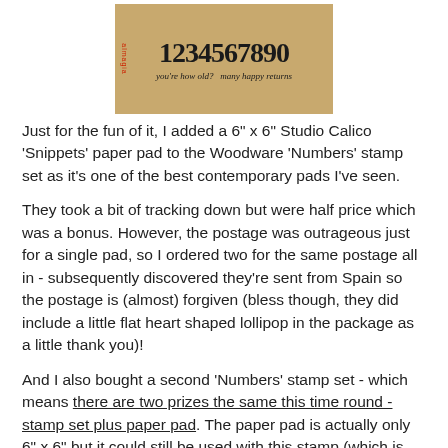[Figure (photo): A photo of a Woodware 'Numbers' rubber stamp showing numerals 1234567890 and text 'you're how old?' and 'many happy returns' on a tan/brown background with a red maple leaf logo.]
Just for the fun of it, I added a 6" x 6" Studio Calico 'Snippets' paper pad to the Woodware 'Numbers' stamp set as it's one of the best contemporary pads I've seen.
They took a bit of tracking down but were half price which was a bonus. However, the postage was outrageous just for a single pad, so I ordered two for the same postage all in - subsequently discovered they're sent from Spain so the postage is (almost) forgiven (bless though, they did include a little flat heart shaped lollipop in the package as a little thank you)!
And I also bought a second 'Numbers' stamp set - which means there are two prizes the same this time round - stamp set plus paper pad. The paper pad is actually only 6" x 6" but it could still be used with this stamp (which is about 7.5" long) - I'm sure you'd find ways! Mind you, it would have a ton of other uses as well. And of course the prize can be split